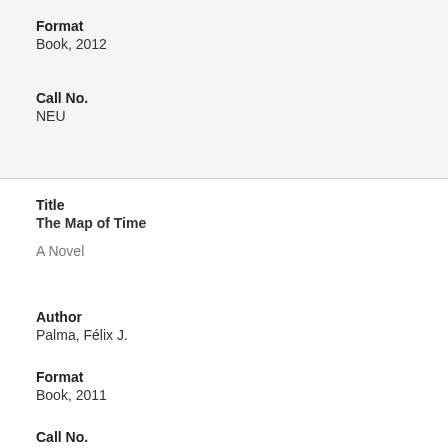Format
Book, 2012
Call No.
NEU
Title
The Map of Time
A Novel
Author
Palma, Félix J.
Format
Book, 2011
Call No.
PAL